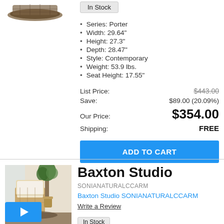[Figure (photo): Partial top view of a chair product image]
In Stock
Series: Porter
Width: 29.64"
Height: 27.3"
Depth: 28.47"
Style: Contemporary
Weight: 53.9 lbs.
Seat Height: 17.55"
List Price: $443.00
Save: $89.00 (20.09%)
Our Price: $354.00
Shipping: FREE
ADD TO CART
[Figure (photo): Baxton Studio SONIANATURALCCARM chair product photo with a blue play button overlay]
Baxton Studio
SONIANATURALCCARM
Baxton Studio SONIANATURALCCARM
Write a Review
In Stock